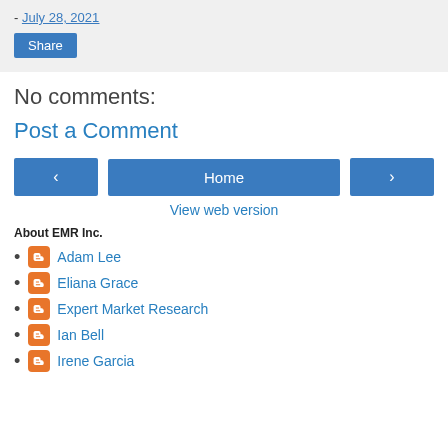- July 28, 2021
Share
No comments:
Post a Comment
‹ Home › View web version
About EMR Inc.
Adam Lee
Eliana Grace
Expert Market Research
Ian Bell
Irene Garcia